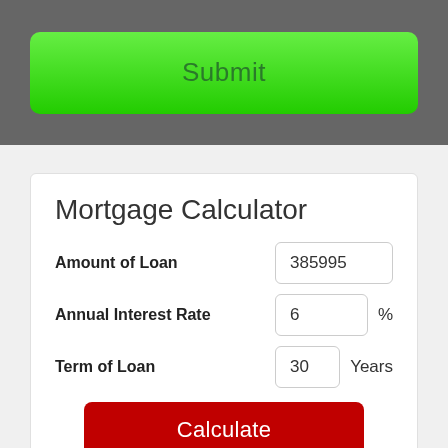[Figure (screenshot): Green Submit button on dark gray background panel]
Mortgage Calculator
Amount of Loan: 385995
Annual Interest Rate: 6 %
Term of Loan: 30 Years
[Figure (screenshot): Red Calculate button]